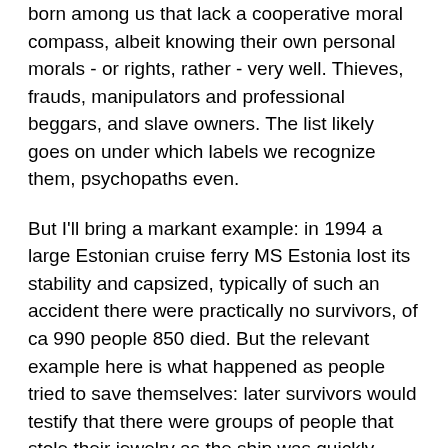born among us that lack a cooperative moral compass, albeit knowing their own personal morals - or rights, rather - very well. Thieves, frauds, manipulators and professional beggars, and slave owners. The list likely goes on under which labels we recognize them, psychopaths even.
But I'll bring a markant example: in 1994 a large Estonian cruise ferry MS Estonia lost its stability and capsized, typically of such an accident there were practically no survivors, of ca 990 people 850 died. But the relevant example here is what happened as people tried to save themselves: later survivors would testify that there were groups of people that stole their jewelry as the ship was quickly sinking - chains were snapped from their necks, wrist watches and rings removed, and only then would they be freed so that they could continue their struggle for survival in the freezing waters. The faces of the thieves were later not spotted in the photographs of the survivors.